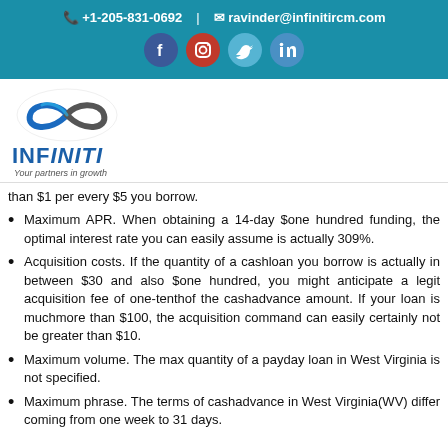📞 +1-205-831-0692  |  ✉ ravinder@infinitircm.com
[Figure (logo): Infiniti RCM logo with infinity symbol and text INFINITI - Your partners in growth]
than $1 per every $5 you borrow.
Maximum APR. When obtaining a 14-day $one hundred funding, the optimal interest rate you can easily assume is actually 309%.
Acquisition costs. If the quantity of a cashloan you borrow is actually in between $30 and also $one hundred, you might anticipate a legit acquisition fee of one-tenthof the cashadvance amount. If your loan is muchmore than $100, the acquisition command can easily certainly not be greater than $10.
Maximum volume. The max quantity of a payday loan in West Virginia is not specified.
Maximum phrase. The terms of cashadvance in West Virginia(WV) differ coming from one week to 31 days.